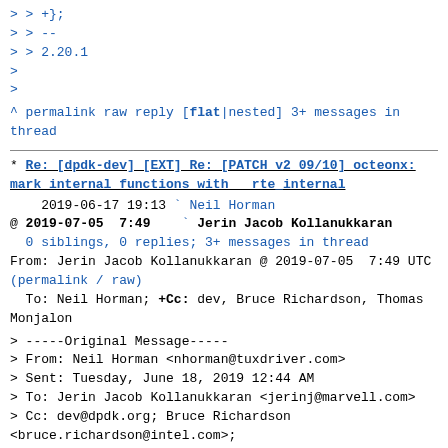> > +};
> > --
> > 2.20.1
>
>
^ permalink raw reply   [flat|nested] 3+ messages in thread
* Re: [dpdk-dev] [EXT] Re: [PATCH v2 09/10] octeonx: mark internal functions with  rte_internal
2019-06-17 19:13 ` Neil Horman
@ 2019-07-05  7:49   ` Jerin Jacob Kollanukkaran
  0 siblings, 0 replies; 3+ messages in thread
From: Jerin Jacob Kollanukkaran @ 2019-07-05  7:49 UTC
(permalink / raw)
  To: Neil Horman; +Cc: dev, Bruce Richardson, Thomas Monjalon
> -----Original Message-----
> From: Neil Horman <nhorman@tuxdriver.com>
> Sent: Tuesday, June 18, 2019 12:44 AM
> To: Jerin Jacob Kollanukkaran <jerinj@marvell.com>
> Cc: dev@dpdk.org; Bruce Richardson <bruce.richardson@intel.com>;
> Thomas Monjalon <thomas@monjalon.net>
> Subject: [EXT] Re: [PATCH v2 09/10] octeonx: mark internal functions with
> __rte_internal